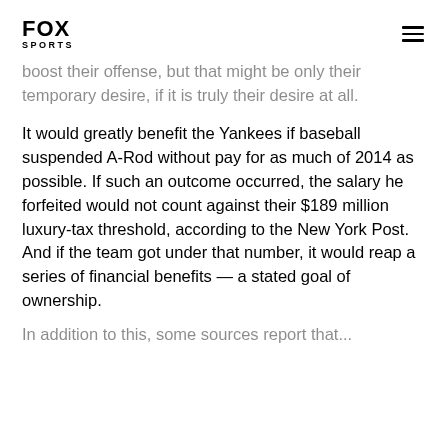FOX SPORTS
boost their offense, but that might be only their temporary desire, if it is truly their desire at all.
It would greatly benefit the Yankees if baseball suspended A-Rod without pay for as much of 2014 as possible. If such an outcome occurred, the salary he forfeited would not count against their $189 million luxury-tax threshold, according to the New York Post. And if the team got under that number, it would reap a series of financial benefits — a stated goal of ownership.
In addition to gaining some cap space ...